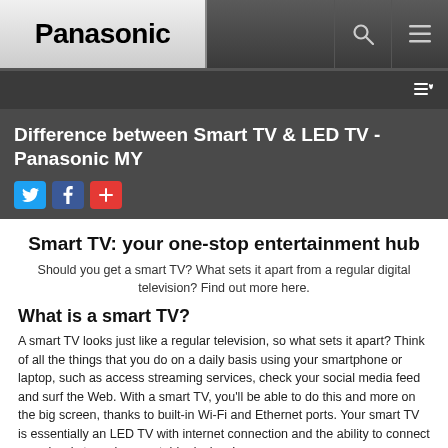Panasonic
Difference between Smart TV & LED TV - Panasonic MY
Smart TV: your one-stop entertainment hub
Should you get a smart TV? What sets it apart from a regular digital television? Find out more here.
What is a smart TV?
A smart TV looks just like a regular television, so what sets it apart? Think of all the things that you do on a daily basis using your smartphone or laptop, such as access streaming services, check your social media feed and surf the Web. With a smart TV, you'll be able to do this and more on the big screen, thanks to built-in Wi-Fi and Ethernet ports. Your smart TV is essentially an LED TV with internet connection and the ability to connect seamlessly to various portable devices!